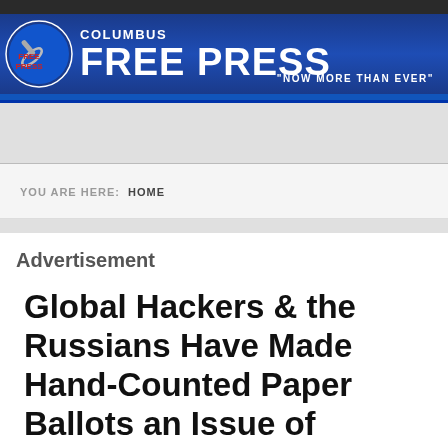Columbus Free Press — "NOW MORE THAN EVER"
YOU ARE HERE: HOME
Advertisement
Global Hackers & the Russians Have Made Hand-Counted Paper Ballots an Issue of Urgent National Security